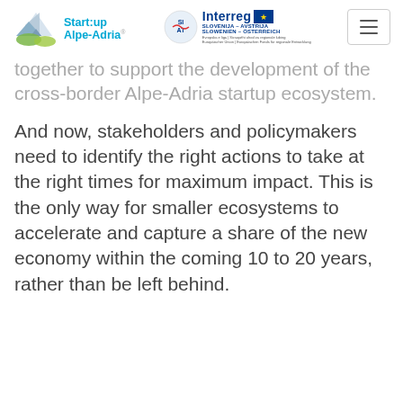[Figure (logo): Startup Alpe-Adria logo with house/mountain icon and teal text]
[Figure (logo): Interreg Slovenija-Avstrija / Slowenien-Österreich logo with EU flag and decorative icon]
together to support the development of the cross-border Alpe-Adria startup ecosystem.
And now, stakeholders and policymakers need to identify the right actions to take at the right times for maximum impact. This is the only way for smaller ecosystems to accelerate and capture a share of the new economy within the coming 10 to 20 years, rather than be left behind.